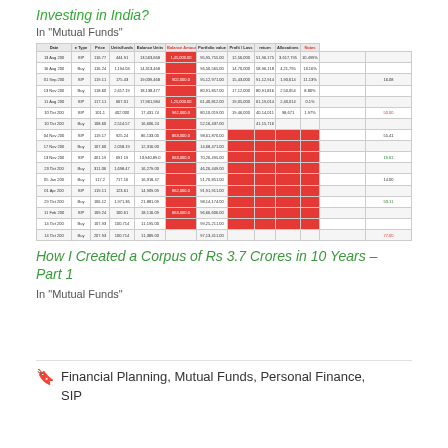Investing in India?
In "Mutual Funds"
[Figure (table-as-image): Spreadsheet screenshot showing SIP/Buy transaction records with columns for Date, Type, Price, Units/funds, Balance Units, Balance Amount, Portfolio value, Profit/Loss, XIRR return, and Allocations. Many rows are highlighted in red indicating losses.]
How I Created a Corpus of Rs 3.7 Crores in 10 Years – Part 1
In "Mutual Funds"
Financial Planning, Mutual Funds, Personal Finance, SIP